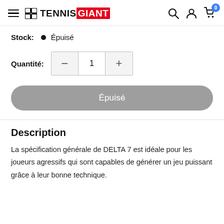TENNIS GIANT — Navigation header with hamburger menu, logo, search, account, and cart icons (badge: 0)
Stock: ● Épuisé
Quantité: − 1 +
Épuisé
Description
La spécification générale de DELTA 7 est idéale pour les joueurs agressifs qui sont capables de générer un jeu puissant grâce à leur bonne technique.